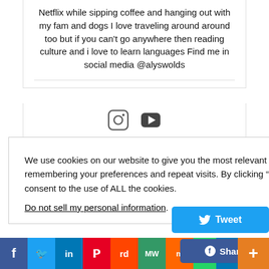Netflix while sipping coffee and hanging out with my fam and dogs I love traveling around around too but if you can't go anywhere then reading culture and i love to learn languages Find me in social media @alyswolds
[Figure (illustration): Social media icons: Instagram and YouTube]
Related
We use cookies on our website to give you the most relevant experience by remembering your preferences and repeat visits. By clicking “Accept”, you consent to the use of ALL the cookies.
Do not sell my personal information.